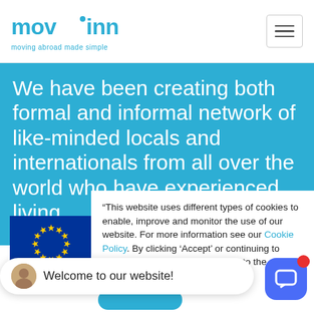[Figure (logo): Moviinn logo with tagline 'moving abroad made simple' in blue]
We have been creating both formal and informal network of like-minded locals and internationals from all over the world who have experienced living
“This website uses different types of cookies to enable, improve and monitor the use of our website. For more information see our Cookie Policy. By clicking ‘Accept’ or continuing to browse our website, you consent to the use of cookies on our device.”
[Figure (illustration): EU flag - blue with circle of yellow stars]
Welcome to our website!